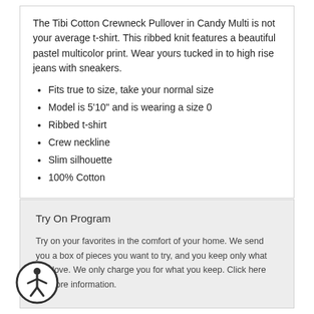The Tibi Cotton Crewneck Pullover in Candy Multi is not your average t-shirt. This ribbed knit features a beautiful pastel multicolor print. Wear yours tucked in to high rise jeans with sneakers.
Fits true to size, take your normal size
Model is 5'10" and is wearing a size 0
Ribbed t-shirt
Crew neckline
Slim silhouette
100% Cotton
Try On Program
Try on your favorites in the comfort of your home. We send you a box of pieces you want to try, and you keep only what you love. We only charge you for what you keep. Click here for more information.
[Figure (illustration): Accessibility icon: circular icon with a stylized person figure inside a dark ring]